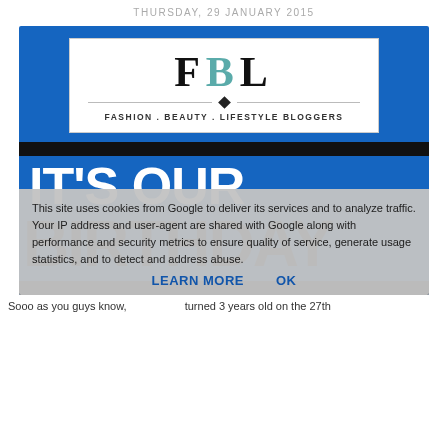THURSDAY, 29 JANUARY 2015
[Figure (illustration): FBL (Fashion Beauty Lifestyle Bloggers) birthday banner on blue background with logo box and bold text IT'S OUR BIRTHDAY]
This site uses cookies from Google to deliver its services and to analyze traffic. Your IP address and user-agent are shared with Google along with performance and security metrics to ensure quality of service, generate usage statistics, and to detect and address abuse.
LEARN MORE   OK
Sooo as you guys know,                turned 3 years old on the 27th